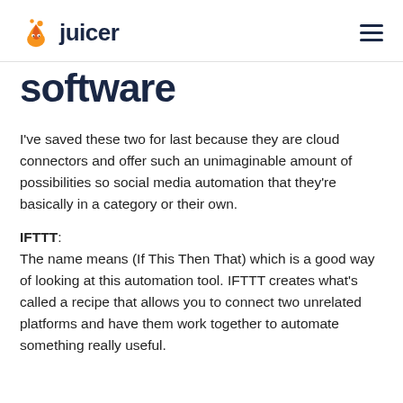juicer
Software
I've saved these two for last because they are cloud connectors and offer such an unimaginable amount of possibilities so social media automation that they're basically in a category or their own.
IFTTT:
The name means (If This Then That) which is a good way of looking at this automation tool. IFTTT creates what's called a recipe that allows you to connect two unrelated platforms and have them work together to automate something really useful.